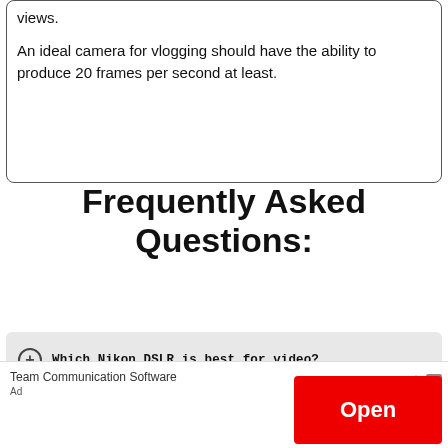views.
An ideal camera for vlogging should have the ability to produce 20 frames per second at least.
Frequently Asked Questions:
Which Nikon DSLR is best for video?
Are Nikon cameras good for video?
Team Communication Software
Open
Ad